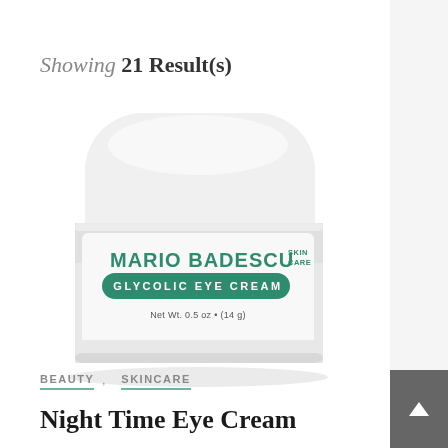Showing 21 Result(s)
[Figure (photo): Mario Badescu Skin Care Glycolic Eye Cream product jar, white with green branding text, Net Wt. 0.5 oz (14 g)]
BEAUTY , SKINCARE
Night Time Eye Cream